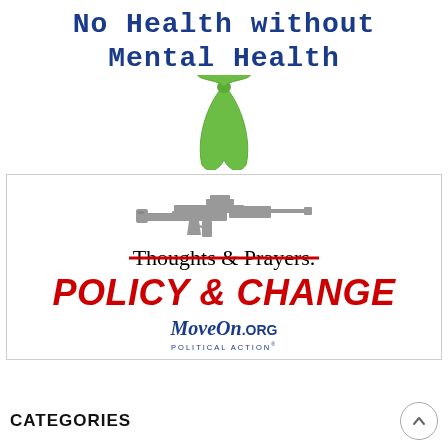[Figure (illustration): No Health without Mental Health text with green awareness ribbon graphic]
[Figure (illustration): Gun graphic crossed out, with text 'Thoughts & Prayers.' struck through in red, 'POLICY & CHANGE' in red bold italic, and MoveOn.org Political Action logo]
CATEGORIES